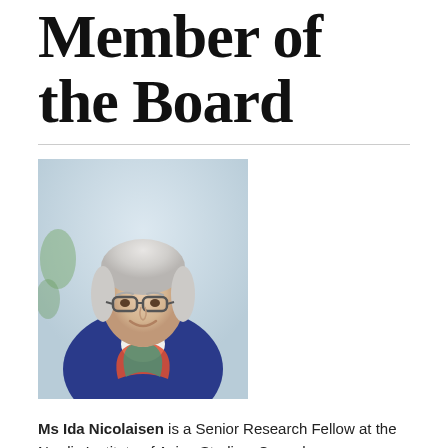Member of the Board
[Figure (photo): Portrait photo of Ms Ida Nicolaisen, an elderly woman with white hair and glasses, wearing a blue cardigan and colorful scarf, smiling, with a light background.]
Ms Ida Nicolaisen is a Senior Research Fellow at the Nordic Institute of Asian Studies, Copenhagen University, Editor-in-Chief of the Carlsberg Foundation Nomad Research Project and former Vice-Chair of the UN Permanent Forum on Indigenous Issues and the Danish Agency for Development